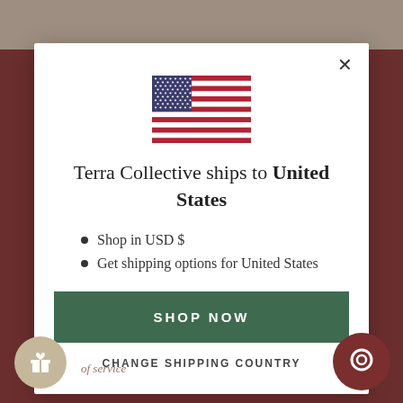[Figure (screenshot): US flag emoji/icon centered at top of modal]
Terra Collective ships to United States
Shop in USD $
Get shipping options for United States
SHOP NOW
CHANGE SHIPPING COUNTRY